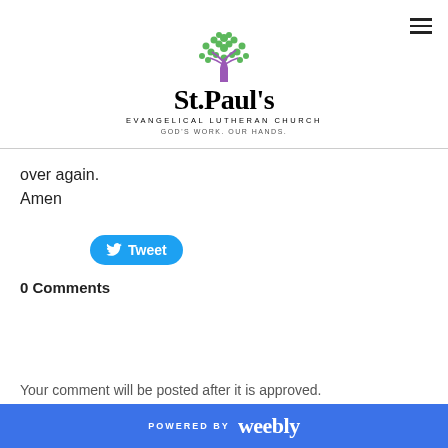[Figure (logo): St. Paul's Evangelical Lutheran Church logo with a tree made of green dots and a purple trunk, with church name and tagline 'GOD'S WORK. OUR HANDS.']
over again.
Amen
[Figure (other): Twitter Tweet button]
0 Comments
Your comment will be posted after it is approved.
POWERED BY weebly